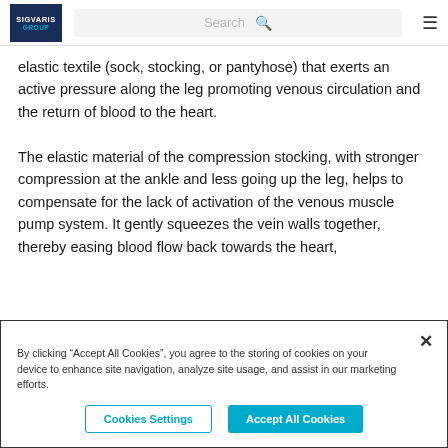SIGVARIS GROUP | Search
elastic textile (sock, stocking, or pantyhose) that exerts an active pressure along the leg promoting venous circulation and the return of blood to the heart.

The elastic material of the compression stocking, with stronger compression at the ankle and less going up the leg, helps to compensate for the lack of activation of the venous muscle pump system. It gently squeezes the vein walls together, thereby easing blood flow back towards the heart,
By clicking “Accept All Cookies”, you agree to the storing of cookies on your device to enhance site navigation, analyze site usage, and assist in our marketing efforts.